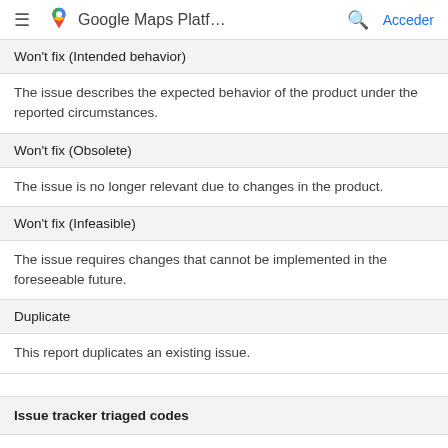Google Maps Platf... Acceder
Won't fix (Intended behavior)
The issue describes the expected behavior of the product under the reported circumstances.
Won't fix (Obsolete)
The issue is no longer relevant due to changes in the product.
Won't fix (Infeasible)
The issue requires changes that cannot be implemented in the foreseeable future.
Duplicate
This report duplicates an existing issue.
Issue tracker triaged codes